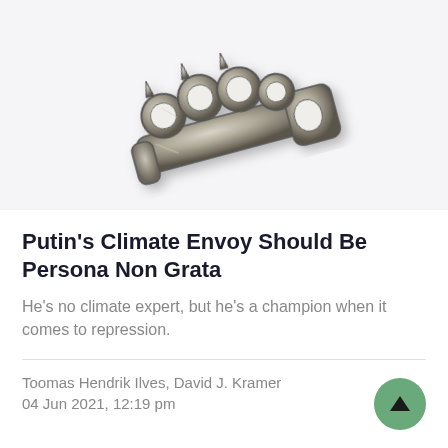[Figure (photo): A metal brass knuckle weapon, silver-gray colored, photographed on a light background. The object has four finger holes and spikes on the top edge.]
Putin’s Climate Envoy Should Be Persona Non Grata
He’s no climate expert, but he’s a champion when it comes to repression.
Toomas Hendrik Ilves, David J. Kramer
04 Jun 2021, 12:19 pm